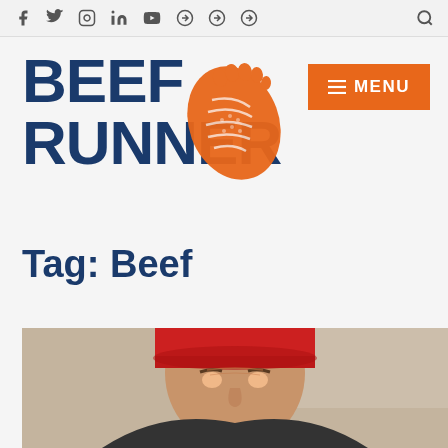[icon bar: Facebook, Twitter, Instagram, LinkedIn, YouTube, and other social/search icons]
BEEF RUNNER
[Figure (logo): Orange shoe print / footprint logo next to BEEF RUNNER text]
[Figure (other): Orange hamburger menu button with text MENU]
Tag: Beef
[Figure (photo): Close-up photo of a man wearing a red cap, looking slightly down, at a running event]